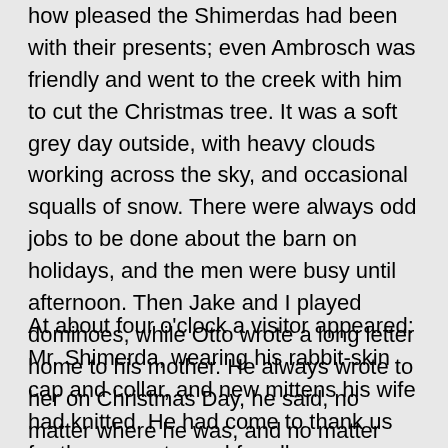how pleased the Shimerdas had been with their presents; even Ambrosch was friendly and went to the creek with him to cut the Christmas tree. It was a soft grey day outside, with heavy clouds working across the sky, and occasional squalls of snow. There were always odd jobs to be done about the barn on holidays, and the men were busy until afternoon. Then Jake and I played dominoes, while Otto wrote a long letter home to his mother. He always wrote to her on Christmas Day, he said, no matter where he was, and no matter how long it had been since his last letter. All afternoon he sat in the dining-room. He would write for a while, then sit idle, his clenched fist lying on the table, his eyes following the pattern of the oilcloth. He spoke and wrote his own language so seldom that it came to him awkwardly. His effort to remember entirely absorbed him.
At about four o'clock a visitor appeared: Mr. Shimerda, wearing his rabbit-skin cap and collar, and new mittens his wife had knitted. He had come to thank us for the presents, and for all grandmother's kindness to his family. Jake and Otto joined us from the basement and we sat about the stove, enjoying the deepening grey of the winter afternoon